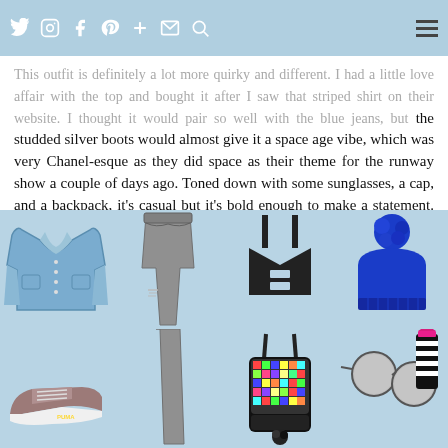Social media navigation bar with icons: Twitter, Instagram, Facebook, Pinterest, Plus, Mail, Search, Hamburger menu
This outfit is definitely a lot more quirky and different. I had a little love affair with the top and bought it after I saw that striped shirt on their website. I thought it would pair so well with the blue jeans, but the studded silver boots would almost give it a space age vibe, which was very Chanel-esque as they did space as their theme for the runway show a couple of days ago. Toned down with some sunglasses, a cap, and a backpack, it's casual but it's bold enough to make a statement. Street style envy wouldn't be far away.
[Figure (photo): Fashion outfit flatlay showing: denim jacket, grey skinny ripped jeans, black crop top with cut-outs, blue pom-pom beanie hat, colorful sequin backpack with pom-pom, round mirrored sunglasses, striped black and white lipstick/cosmetic, and mauve/dusty pink Puma suede sneakers. Items are displayed on a light blue background.]